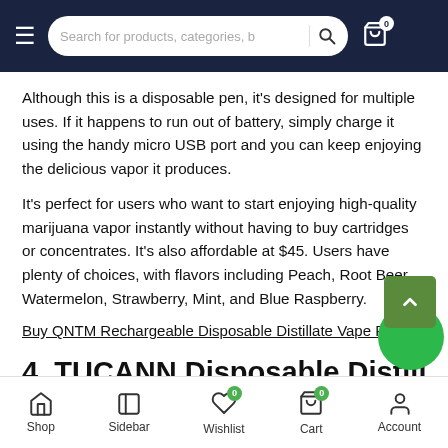Search for products, categories, b
Although this is a disposable pen, it’s designed for multiple uses. If it happens to run out of battery, simply charge it using the handy micro USB port and you can keep enjoying the delicious vapor it produces.
It’s perfect for users who want to start enjoying high-quality marijuana vapor instantly without having to buy cartridges or concentrates. It’s also affordable at $45. Users have plenty of choices, with flavors including Peach, Root Beer, Watermelon, Strawberry, Mint, and Blue Raspberry.
Buy QNTM Rechargeable Disposable Distillate Vape Pens
4. TUCANN Disposable Distillate
Shop  Sidebar  Wishlist 0  Cart 0  Account